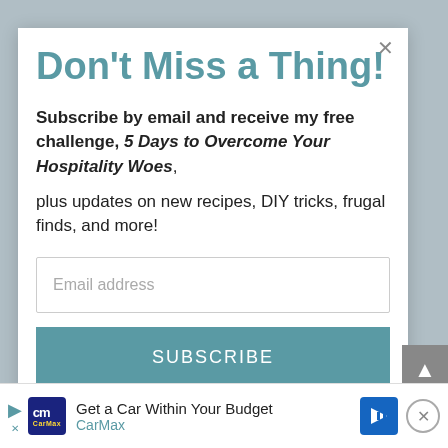Don't Miss a Thing!
Subscribe by email and receive my free challenge, 5 Days to Overcome Your Hospitality Woes, plus updates on new recipes, DIY tricks, frugal finds, and more!
Email address
SUBSCRIBE
Get a Car Within Your Budget CarMax